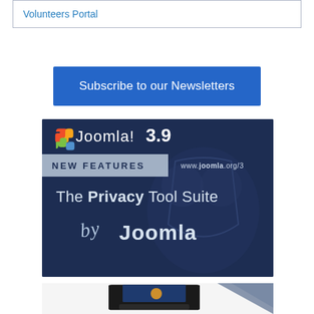| Volunteers Portal |
Subscribe to our Newsletters
[Figure (illustration): Joomla! 3.9 New Features - The Privacy Tool Suite by Joomla. Dark blue banner with Joomla logo, shield graphic, and text. URL: www.joomla.org/3]
[Figure (photo): Bottom portion of an image showing a laptop with a person and a blue/grey triangular design element]